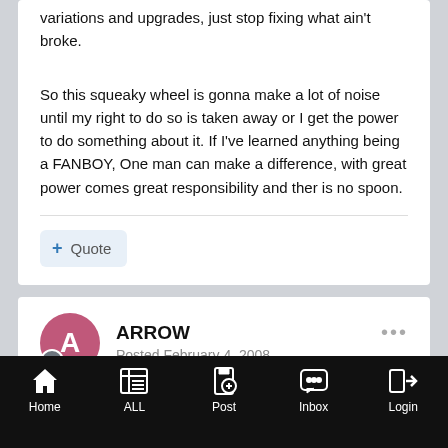variations and upgrades, just stop fixing what ain't broke.
So this squeaky wheel is gonna make a lot of noise until my right to do so is taken away or I get the power to do something about it. If I've learned anything being a FANBOY, One man can make a difference, with great power comes great responsibility and ther is no spoon.
ARROW
Posted February 4, 2008